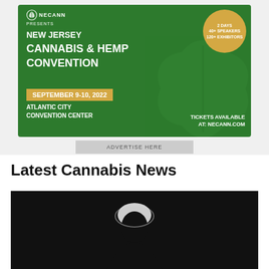[Figure (infographic): NECANN presents New Jersey Cannabis & Hemp Convention advertisement. September 9-10, 2022. Atlantic City Convention Center. 2 Days, 40+ Speakers, 120+ Exhibitors. Tickets available at NECANN.COM. Green background with leaf motif and gold badge.]
ADVERTISE HERE
Latest Cannabis News
[Figure (photo): Dark background photo showing a silhouetted figure from behind with light illuminating the top of their head]